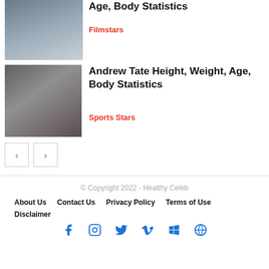[Figure (photo): Thumbnail photo of a man in a car, facing camera]
Age, Body Statistics
Filmstars
[Figure (photo): Photo of Andrew Tate wearing sunglasses]
Andrew Tate Height, Weight, Age, Body Statistics
Sports Stars
< >
© Copyright 2022 - Healthy Celeb
About Us   Contact Us   Privacy Policy   Terms of Use
Disclaimer
[Figure (illustration): Social media icons: Facebook, Instagram, Twitter, Vimeo, Windows, WordPress]